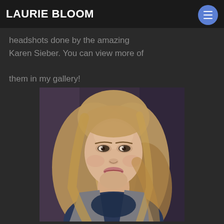LAURIE BLOOM
headshots done by the amazing Karen Sieber. You can view more of them in my gallery!
[Figure (photo): Professional headshot of a woman with long blonde/light brown hair, wearing a navy blue lace top and grey blazer, smiling, photographed against a blurred dark background.]